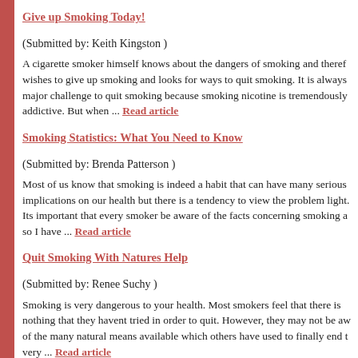Give up Smoking Today!
(Submitted by: Keith Kingston )
A cigarette smoker himself knows about the dangers of smoking and theref wishes to give up smoking and looks for ways to quit smoking. It is always major challenge to quit smoking because smoking nicotine is tremendously addictive. But when ... Read article
Smoking Statistics: What You Need to Know
(Submitted by: Brenda Patterson )
Most of us know that smoking is indeed a habit that can have many serious implications on our health but there is a tendency to view the problem light. Its important that every smoker be aware of the facts concerning smoking a so I have ... Read article
Quit Smoking With Natures Help
(Submitted by: Renee Suchy )
Smoking is very dangerous to your health. Most smokers feel that there is nothing that they havent tried in order to quit. However, they may not be aw of the many natural means available which others have used to finally end t very ... Read article